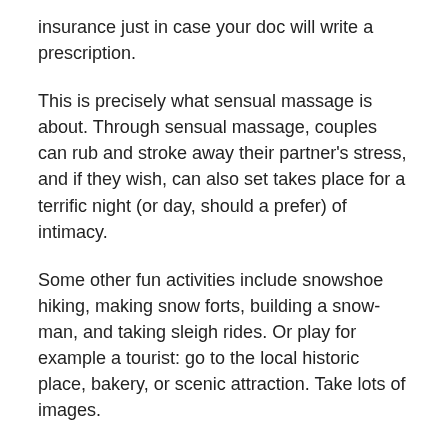insurance just in case your doc will write a prescription.
This is precisely what sensual massage is about. Through sensual massage, couples can rub and stroke away their partner's stress, and if they wish, can also set takes place for a terrific night (or day, should a prefer) of intimacy.
Some other fun activities include snowshoe hiking, making snow forts, building a snow-man, and taking sleigh rides. Or play for example a tourist: go to the local historic place, bakery, or scenic attraction. Take lots of images.
There are things you need to fundamentally persist your holiday to wellness cabins. The things you carry make use of the time you'll spend at a wellness medical center. Do not forget to carry your regular stuff like electric shavers, toothbrush, toothpaste etc. Also pack